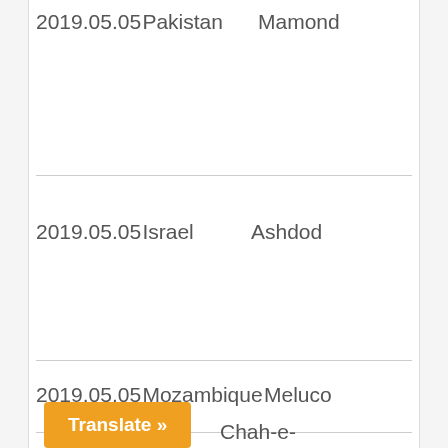2019.05.05 Pakistan    Mamond
2019.05.05 Israel      Ashdod
2019.05.05 Mozambique Meluco
2019.05.05 Afghanistan    Chah-e-
Translate »